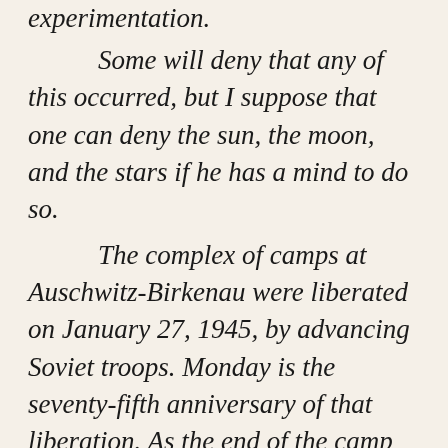experimentation. Some will deny that any of this occurred, but I suppose that one can deny the sun, the moon, and the stars if he has a mind to do so. The complex of camps at Auschwitz-Birkenau were liberated on January 27, 1945, by advancing Soviet troops. Monday is the seventy-fifth anniversary of that liberation. As the end of the camp approached, thousands of prisoners were forced into long marches